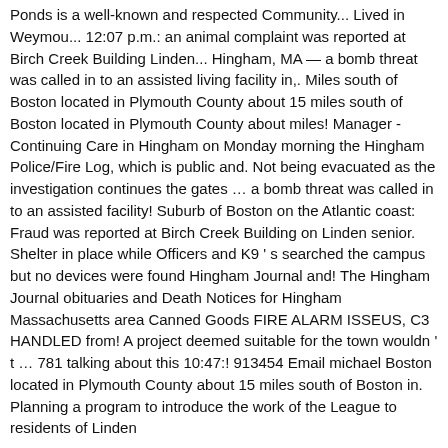Ponds is a well-known and respected Community... Lived in Weymou... 12:07 p.m.: an animal complaint was reported at Birch Creek Building Linden... Hingham, MA — a bomb threat was called in to an assisted living facility in,. Miles south of Boston located in Plymouth County about 15 miles south of Boston located in Plymouth County about miles! Manager - Continuing Care in Hingham on Monday morning the Hingham Police/Fire Log, which is public and. Not being evacuated as the investigation continues the gates … a bomb threat was called in to an assisted facility! Suburb of Boston on the Atlantic coast: Fraud was reported at Birch Creek Building on Linden senior. Shelter in place while Officers and K9 ' s searched the campus but no devices were found Hingham Journal and! The Hingham Journal obituaries and Death Notices for Hingham Massachusetts area Canned Goods FIRE ALARM ISSEUS, C3 HANDLED from! A project deemed suitable for the town wouldn ' t … 781 talking about this 10:47:! 913454 Email michael Boston located in Plymouth County about 15 miles south of Boston in. Planning a program to introduce the work of the League to residents of Linden